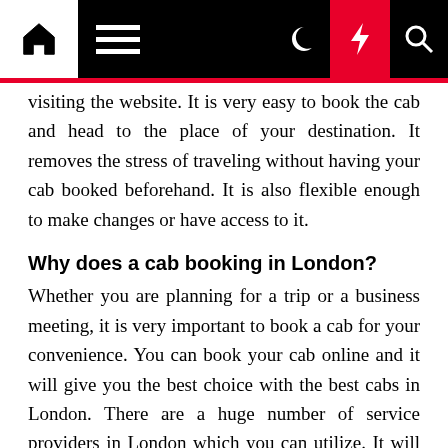[Navigation bar with home, menu, moon, flash, search icons]
visiting the website. It is very easy to book the cab and head to the place of your destination. It removes the stress of traveling without having your cab booked beforehand. It is also flexible enough to make changes or have access to it.
Why does a cab booking in London?
Whether you are planning for a trip or a business meeting, it is very important to book a cab for your convenience. You can book your cab online and it will give you the best choice with the best cabs in London. There are a huge number of service providers in London which you can utilize. It will help you to travel safely and you will not have to worry about traveling to your destination on time. All sorts of price quotations are available and you can really